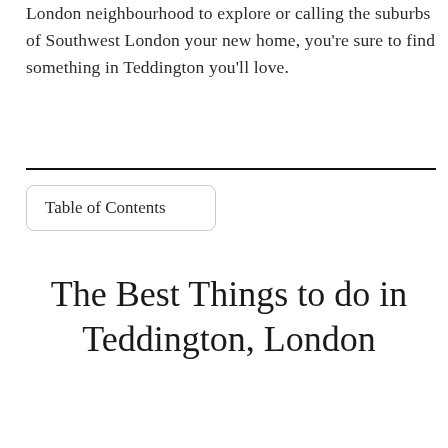London neighbourhood to explore or calling the suburbs of Southwest London your new home, you're sure to find something in Teddington you'll love.
Table of Contents
The Best Things to do in Teddington, London